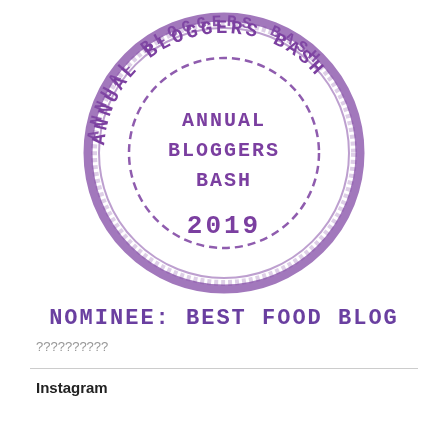[Figure (illustration): Circular rubber stamp logo reading 'ANNUAL BLOGGERS BASH' around the outer ring in purple, with 'ANNUAL BLOGGERS BASH' text curved on inside dashed circle, and '2019' at the bottom center. Purple ink stamp style.]
NOMINEE: BEST FOOD BLOG
??????????
Instagram